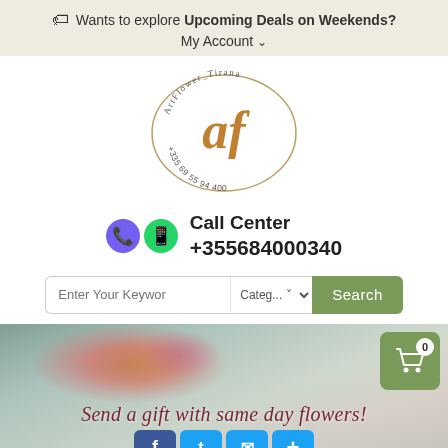🏷 Wants to explore Upcoming Deals on Weekends? My Account ˅
[Figure (logo): ArtFlower_Tirana logo — oval border with stylized 'af' monogram in gold/brown and phone number +335 69 55 94 400]
Call Center
+355684000340
Enter Your Keyword  Categ...  Search
[Figure (photo): Hero banner showing a bouquet of flowers held by a person, with text 'Send a gift with same day flowers!' overlaid in cursive, a shopping cart icon with 0 items, and social media share buttons (Facebook, Twitter, Email, Plus)]